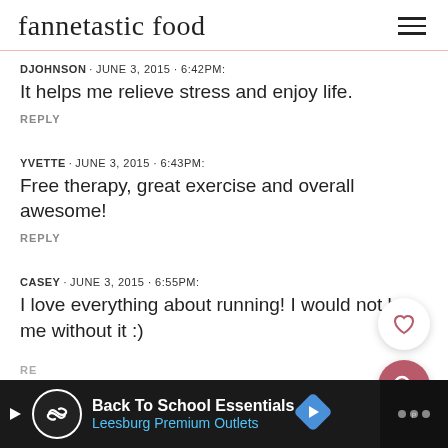fannetastic food
DJOHNSON · JUNE 3, 2015 · 6:42PM:
It helps me relieve stress and enjoy life.
REPLY
YVETTE · JUNE 3, 2015 · 6:43PM:
Free therapy, great exercise and overall awesome!
REPLY
CASEY · JUNE 3, 2015 · 6:55PM:
I love everything about running! I would not be me without it :)
RE
[Figure (other): Advertisement bar: Back To School Essentials, Leesburg Premium Outlets]